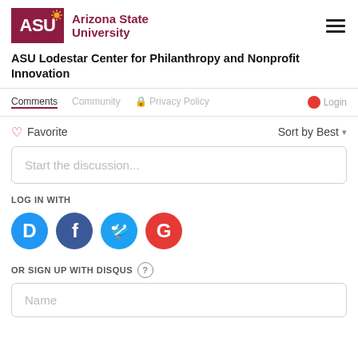ASU Arizona State University
ASU Lodestar Center for Philanthropy and Nonprofit Innovation
Comments  Community  Privacy Policy  Login
Favorite  Sort by Best
Start the discussion...
LOG IN WITH
[Figure (infographic): Social login icons: Disqus (blue circle with D), Facebook (dark blue circle with f), Twitter (blue circle with bird), Google (red circle with G)]
OR SIGN UP WITH DISQUS ?
Name